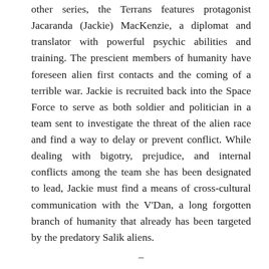other series, the Terrans features protagonist Jacaranda (Jackie) MacKenzie, a diplomat and translator with powerful psychic abilities and training. The prescient members of humanity have foreseen alien first contacts and the coming of a terrible war. Jackie is recruited back into the Space Force to serve as both soldier and politician in a team sent to investigate the threat of the alien race and find a way to delay or prevent conflict. While dealing with bigotry, prejudice, and internal conflicts among the team she has been designated to lead, Jackie must find a means of cross-cultural communication with the V'Dan, a long forgotten branch of humanity that already has been targeted by the predatory Salik aliens.
–
The Terrans is superb in concept and genre balance. I enjoyed the mixtures of action, romance, social